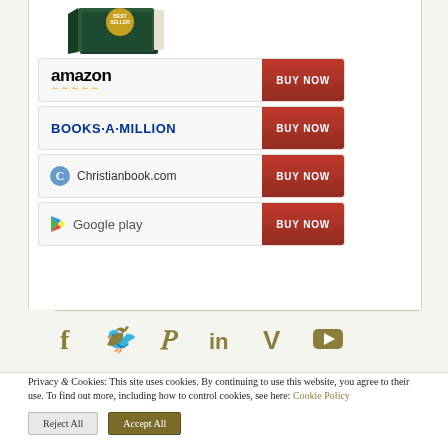[Figure (illustration): Book with 'Best Seller' badge shown from a top-angle partial view]
[Figure (screenshot): Amazon 'BUY NOW' button row]
[Figure (screenshot): Books-A-Million 'BUY NOW' button row]
[Figure (screenshot): Christianbook.com 'BUY NOW' button row]
[Figure (screenshot): Google Play 'BUY NOW' button row]
[Figure (infographic): Social media icons: Facebook, Twitter, Pinterest, LinkedIn, Vimeo, YouTube in gold/olive color]
Privacy & Cookies: This site uses cookies. By continuing to use this website, you agree to their use. To find out more, including how to control cookies, see here: Cookie Policy
Reject All
Accept All